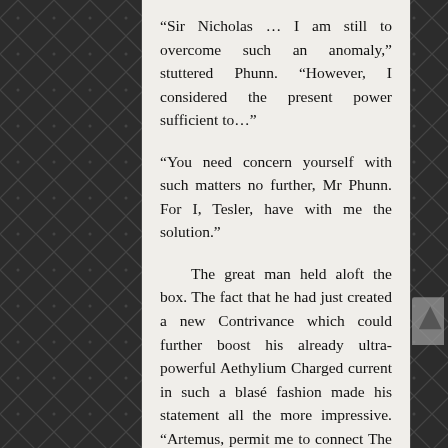“Sir Nicholas … I am still to overcome such an anomaly,” stuttered Phunn. “However, I considered the present power sufficient to…”
“You need concern yourself with such matters no further, Mr Phunn. For I, Tesler, have with me the solution.”
The great man held aloft the box. The fact that he had just created a new Contrivance which could further boost his already ultra-powerful Aethylium Charged current in such a blasé fashion made his statement all the more impressive. “Artemus, permit me to connect The Tesler Aethylium Amplifier.”